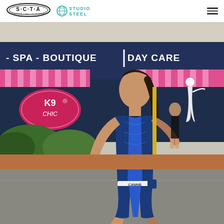SCTA (Sunshine Coast Tri Academy) and Studio Steel logos, hamburger menu
[Figure (photo): Female triathlete in blue patterned trisuit running on a street during a triathlon race. Background shows a dark navy building with pink awnings reading 'SPA - BOUTIQUE - DAY CARE' and a K9 Chic pet boutique logo. The athlete has dark hair in a ponytail and wears a race belt labeled 'CANNIE'. Sunny outdoor setting.]